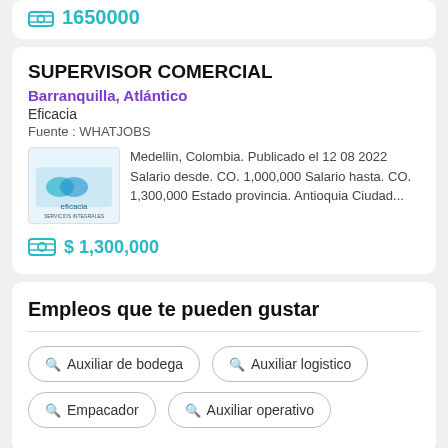1650000
SUPERVISOR COMERCIAL
Barranquilla, Atlántico
Eficacia
Fuente : WHATJOBS
Medellin, Colombia. Publicado el 12 08 2022 Salario desde. CO. 1,000,000 Salario hasta. CO. 1,300,000 Estado provincia. Antioquia Ciudad...
$ 1,300,000
Empleos que te pueden gustar
Auxiliar de bodega
Auxiliar logistico
Empacador
Auxiliar operativo